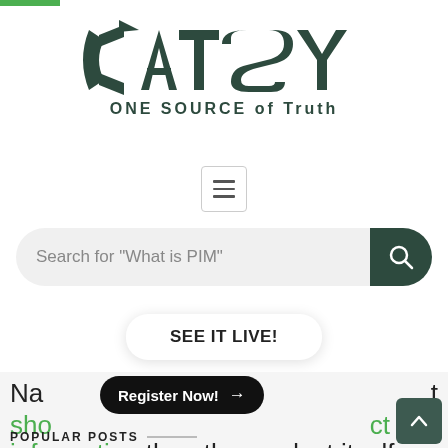[Figure (logo): Catsy logo with arrow icon and text 'CATSY', tagline 'ONE SOURCE of Truth']
[Figure (screenshot): Hamburger menu icon in a bordered box]
[Figure (screenshot): Search bar with placeholder 'Search for "What is PIM"' and dark green search button]
[Figure (screenshot): Button labeled 'SEE IT LIVE!' with rounded rectangle and shadow]
Na
[Figure (screenshot): Black pill-shaped button 'Register Now!' with arrow]
t
sho
ct
information than the product itself.
POPULAR POSTS